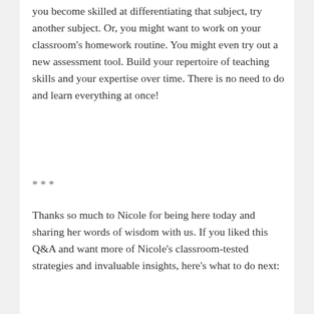you become skilled at differentiating that subject, try another subject. Or, you might want to work on your classroom's homework routine. You might even try out a new assessment tool. Build your repertoire of teaching skills and your expertise over time. There is no need to do and learn everything at once!
***
Thanks so much to Nicole for being here today and sharing her words of wisdom with us. If you liked this Q&A and want more of Nicole's classroom-tested strategies and invaluable insights, here's what to do next: